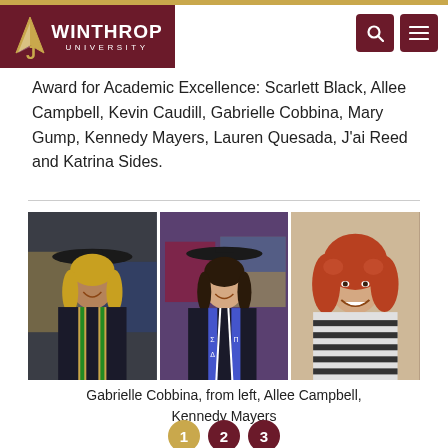Winthrop University
Award for Academic Excellence: Scarlett Black, Allee Campbell, Kevin Caudill, Gabrielle Cobbina, Mary Gump, Kennedy Mayers, Lauren Quesada, J'ai Reed and Katrina Sides.
[Figure (photo): Three graduation photos side by side: Gabrielle Cobbina (left), Allee Campbell (center), Kennedy Mayers (right)]
Gabrielle Cobbina, from left, Allee Campbell, Kennedy Mayers